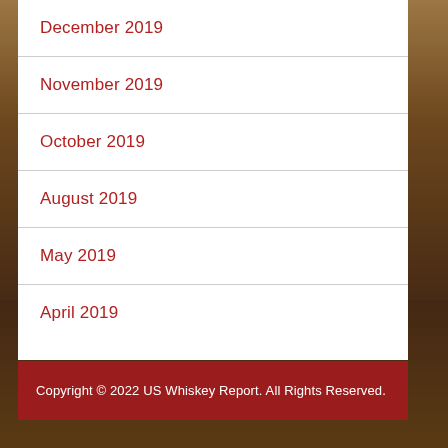December 2019
November 2019
October 2019
August 2019
May 2019
April 2019
Copyright © 2022 US Whiskey Report. All Rights Reserved.